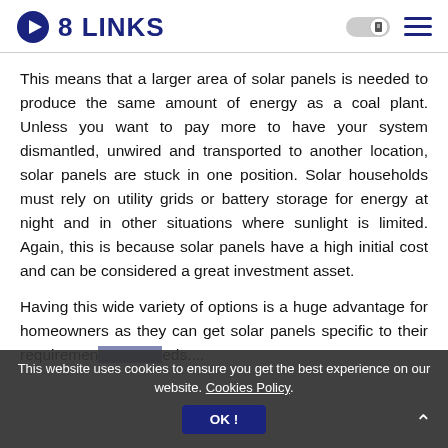8 LINKS
This means that a larger area of solar panels is needed to produce the same amount of energy as a coal plant. Unless you want to pay more to have your system dismantled, unwired and transported to another location, solar panels are stuck in one position. Solar households must rely on utility grids or battery storage for energy at night and in other situations where sunlight is limited. Again, this is because solar panels have a high initial cost and can be considered a great investment asset.
Having this wide variety of options is a huge advantage for homeowners as they can get solar panels specific to their requirements and needs....
This website uses cookies to ensure you get the best experience on our website. Cookies Policy. OK!